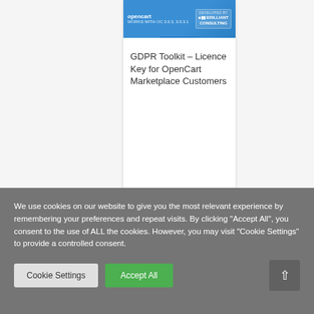[Figure (screenshot): OpenCart product card with blue banner showing OpenCart logo and 'Developed By' badge with a chevron arrow pointing down]
GDPR Toolkit – Licence Key for OpenCart Marketplace Customers
We use cookies on our website to give you the most relevant experience by remembering your preferences and repeat visits. By clicking "Accept All", you consent to the use of ALL the cookies. However, you may visit "Cookie Settings" to provide a controlled consent.